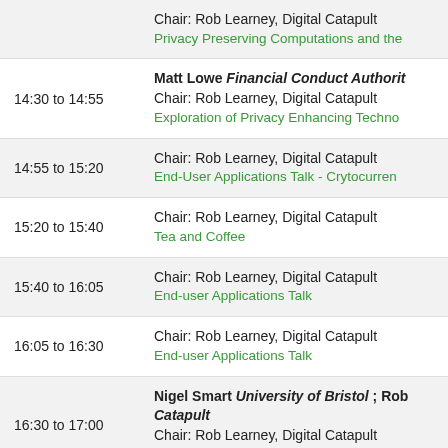| Time | Session |
| --- | --- |
|  | Chair: Rob Learney, Digital Catapult
Privacy Preserving Computations and the |
| 14:30 to 14:55 | Matt Lowe Financial Conduct Authority
Chair: Rob Learney, Digital Catapult
Exploration of Privacy Enhancing Techno |
| 14:55 to 15:20 | Chair: Rob Learney, Digital Catapult
End-User Applications Talk - Crytocurren |
| 15:20 to 15:40 | Chair: Rob Learney, Digital Catapult
Tea and Coffee |
| 15:40 to 16:05 | Chair: Rob Learney, Digital Catapult
End-user Applications Talk |
| 16:05 to 16:30 | Chair: Rob Learney, Digital Catapult
End-user Applications Talk |
| 16:30 to 17:00 | Nigel Smart University of Bristol ; Rob Catapult
Chair: Rob Learney, Digital Catapult
Wrap-up and Panel Discussion |